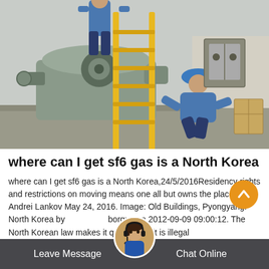[Figure (photo): Two workers in blue uniforms and hard hats working on industrial machinery with a yellow ladder. One worker is climbing the ladder, another is crouching near large industrial equipment/pipes. Outdoor industrial setting.]
where can I get sf6 gas is a North Korea
where can I get sf6 gas is a North Korea,24/5/2016Residency rights and restrictions on moving means one all but owns the place. Andrei Lankov May 24, 2016. Image: Old Buildings, Pyongyang. North Korea by borgue on 2012-09-09 09:00:12. The North Korean law makes it quite clear: it is illegal